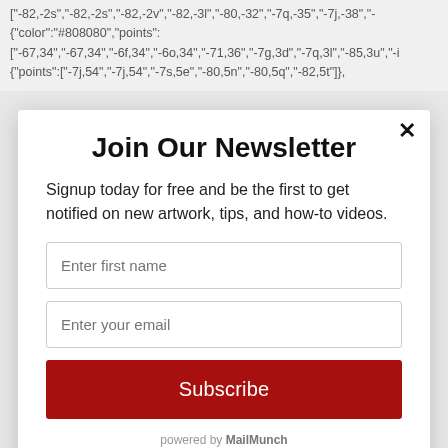["-82,-2s","-82,-2s","-82,-2v","-82,-3l","-80,-32","-7q,-35","-7j,-38","-{"color":"#808080","points": ["-67,34","-67,34","-6f,34","-6o,34","-71,36","-7g,3d","-7q,3l","-85,3u","-i {"points":["-7j,54","-7j,54","-7s,5e","-80,5n","-80,5q","-82,5t"]},
Join Our Newsletter
Signup today for free and be the first to get notified on new artwork, tips, and how-to videos.
Enter first name
Enter your email
Subscribe
powered by MailMunch